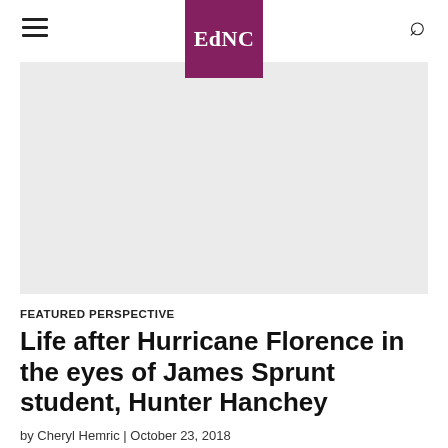EdNC
[Figure (photo): Large hero image placeholder (light gray background), appears to be a photo related to Hurricane Florence story]
FEATURED PERSPECTIVE
Life after Hurricane Florence in the eyes of James Sprunt student, Hunter Hanchey
by Cheryl Hemric | October 23, 2018